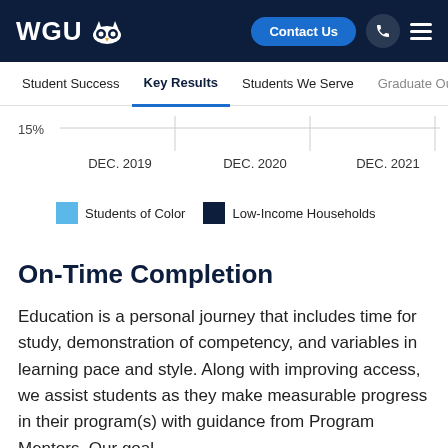WGU | Contact Us
[Figure (other): Partial chart showing x-axis labels DEC. 2019, DEC. 2020, DEC. 2021 with a 15% y-axis label visible, and a legend for Students of Color (light blue) and Low-Income Households (dark navy)]
On-Time Completion
Education is a personal journey that includes time for study, demonstration of competency, and variables in learning pace and style. Along with improving access, we assist students as they make measurable progress in their program(s) with guidance from Program Mentors. Our goal